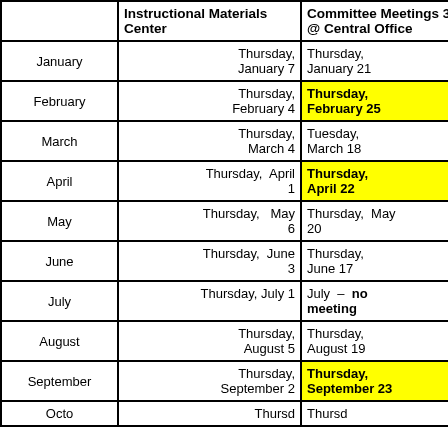|  | Instructional Materials Center | Committee Meetings 3pm @ Central Office |
| --- | --- | --- |
| January | Thursday, January 7 | Thursday, January 21 |
| February | Thursday, February 4 | Thursday, February 25 |
| March | Thursday, March 4 | Tuesday, March 18 |
| April | Thursday, April 1 | Thursday, April 22 |
| May | Thursday, May 6 | Thursday, May 20 |
| June | Thursday, June 3 | Thursday, June 17 |
| July | Thursday, July 1 | July – no meeting |
| August | Thursday, August 5 | Thursday, August 19 |
| September | Thursday, September 2 | Thursday, September 23 |
| October | Thursday, ... | Thursday, ... |